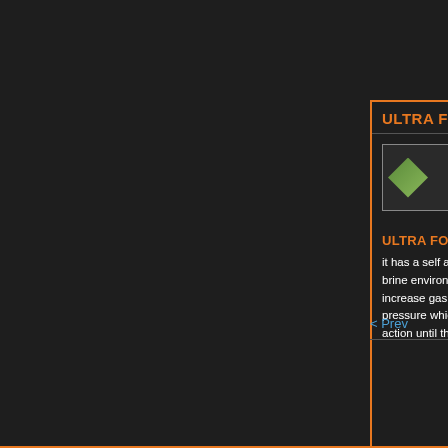ULTRA FOAM STI…
[Figure (photo): Product image placeholder for Ultra Foam product]
ULTRA FOAM SEL…
it has a self agitat… brine environment… increase gas prod… pressure which in… action until the we…
< Prev